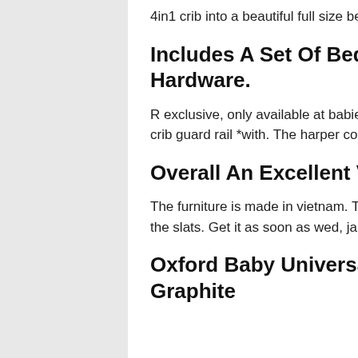4in1 crib into a beautiful full size bed. In stock for standard shipping.
Includes A Set Of Bed Rails, Mattress Supports And Hardware.
R exclusive, only available at babies r us canada. 15% off any* crib conversion kit or crib guard rail *with. The harper collection by oxford baby features:
Overall An Excellent Value And I Made My.
The furniture is made in vietnam. The simmons conversion kit fit perfect and came with the slats. Get it as soon as wed, jan 26.
Oxford Baby Universal Full Bed Conversion Kit, Graphite